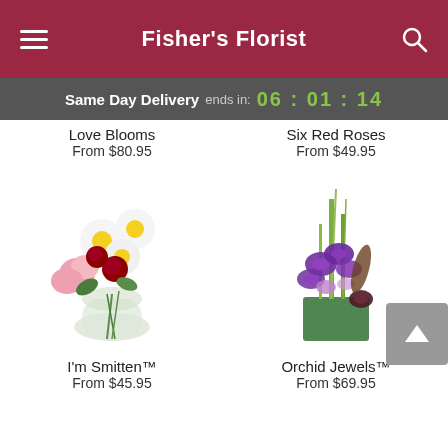Fisher's Florist
Same Day Delivery ends in: 06 : 01 : 14
Love Blooms
From $80.95
Six Red Roses
From $49.95
[Figure (photo): I'm Smitten floral arrangement in a round glass vase with white daisies, pink carnations, and red roses]
I'm Smitten™
From $45.95
[Figure (photo): Orchid Jewels floral arrangement in a rectangular green glass vase with purple orchids and tall green stems]
Orchid Jewels™
From $69.95